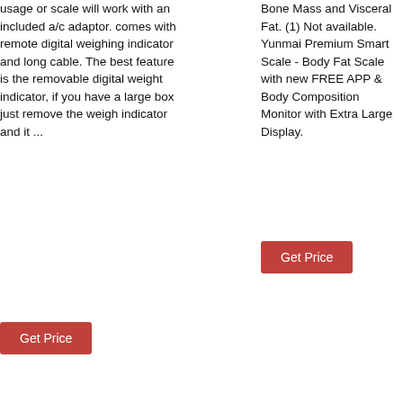usage or scale will work with an included a/c adaptor. comes with remote digital weighing indicator and long cable. The best feature is the removable digital weight indicator, if you have a large box just remove the weigh indicator and it ...
Get Price
Bone Mass and Visceral Fat. (1) Not available. Yunmai Premium Smart Scale - Body Fat Scale with new FREE APP & Body Composition Monitor with Extra Large Display.
Get Price